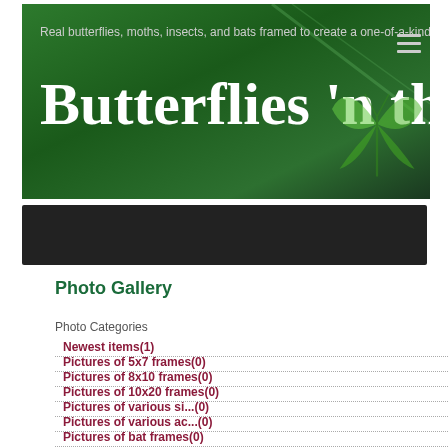[Figure (screenshot): Website banner for 'Butterflies 'n things' with dark green background, tagline 'Real butterflies, moths, insects, and bats framed to create a one-of-a-kind treasure...' and large white title text, with decorative butterfly/insect graphic on the right]
[Figure (screenshot): Dark navigation bar, appears empty/black]
Photo Gallery
Photo Categories
Newest items(1)
Pictures of 5x7 frames(0)
Pictures of 8x10 frames(0)
Pictures of 10x20 frames(0)
Pictures of various si...(0)
Pictures of various ac...(0)
Pictures of bat frames(0)
Pictures of various in...(0)
Pictures of beaded spi...(0)